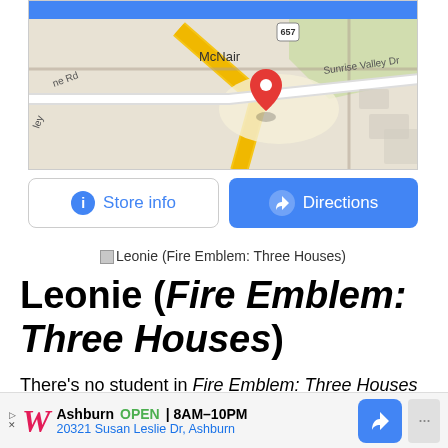[Figure (map): Google Maps screenshot showing location near McNair and Sunrise Valley Dr with route 657, red location pin marker, and blue header bar.]
[Figure (screenshot): Store info and Directions buttons below map. Store info button with info icon (white background, blue text). Directions button with navigation icon (blue background, white text).]
Leonie (Fire Emblem: Three Houses)
Leonie (Fire Emblem: Three Houses)
There’s no student in Fire Emblem: Three Houses that has as direct a connection to Byleth’s family as Leonie. Though her obsession with the player’s father, Jeralt, might be off-putting to some, it all starts to make sense
[Figure (screenshot): Walgreens advertisement bar: Ashburn OPEN 8AM-10PM, 20321 Susan Leslie Dr, Ashburn with navigation icon.]